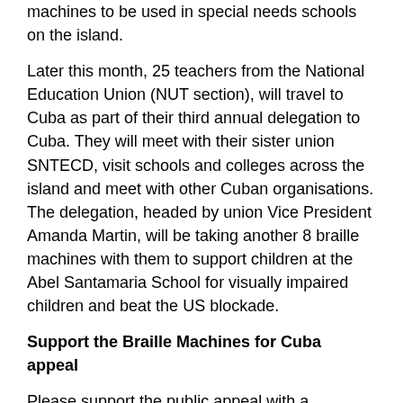machines to be used in special needs schools on the island.
Later this month, 25 teachers from the National Education Union (NUT section), will travel to Cuba as part of their third annual delegation to Cuba. They will meet with their sister union SNTECD, visit schools and colleges across the island and meet with other Cuban organisations. The delegation, headed by union Vice President Amanda Martin, will be taking another 8 braille machines with them to support children at the Abel Santamaria School for visually impaired children and beat the US blockade.
Support the Braille Machines for Cuba appeal
Please support the public appeal with a donation. It costs £350 to send a refurbished Braille Machine to Cuba but all donations are welcome. Please make cheques payable to the Music Fund for Cuba (Braille appeal) and send to Music Fund for Cuba, c/o Unite, 33-37 Moreland Street, London, EC1V 8BB.